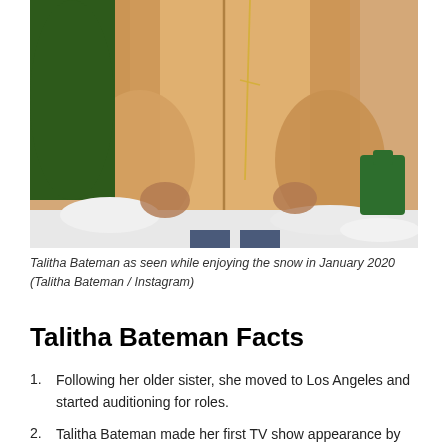[Figure (photo): Talitha Bateman wearing a camel/tan coat standing outdoors in a snowy setting with a green tree visible on the left. A gold chain necklace is visible. Snow is on the ground.]
Talitha Bateman as seen while enjoying the snow in January 2020 (Talitha Bateman / Instagram)
Talitha Bateman Facts
Following her older sister, she moved to Los Angeles and started auditioning for roles.
Talitha Bateman made her first TV show appearance by